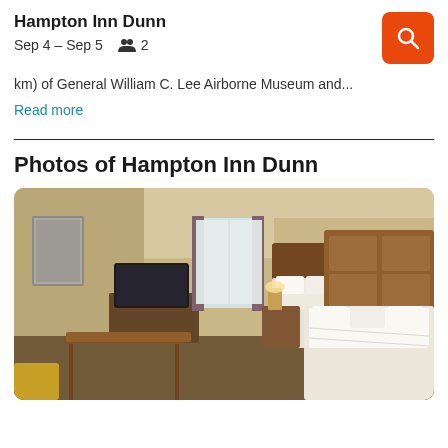Hampton Inn Dunn
Sep 4 – Sep 5    👥 2
km) of General William C. Lee Airborne Museum and...
Read more
Photos of Hampton Inn Dunn
[Figure (photo): Hotel room interior showing two large beds with white linens, wooden headboard, TV on dresser, window with curtains, warm lighting]